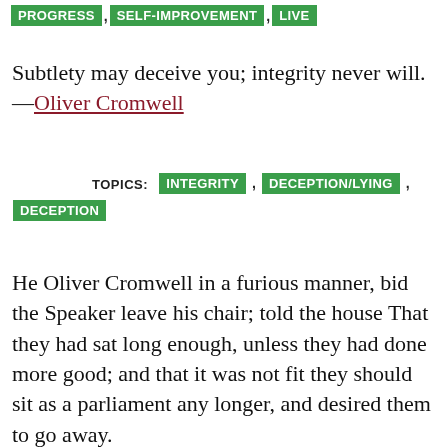PROGRESS , SELF-IMPROVEMENT , LIVE
Subtlety may deceive you; integrity never will.
—Oliver Cromwell
TOPICS: INTEGRITY , DECEPTION/LYING , DECEPTION
He Oliver Cromwell in a furious manner, bid the Speaker leave his chair; told the house That they had sat long enough, unless they had done more good; and that it was not fit they should sit as a parliament any longer, and desired them to go away.
—Oliver Cromwell